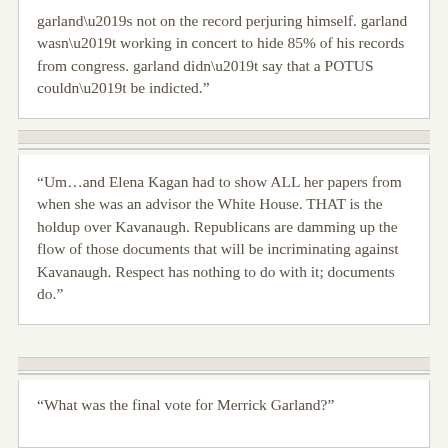garland’s not on the record perjuring himself. garland wasn’t working in concert to hide 85% of his records from congress. garland didn’t say that a POTUS couldn’t be indicted.”
“Um…and Elena Kagan had to show ALL her papers from when she was an advisor the White House. THAT is the holdup over Kavanaugh. Republicans are damming up the flow of those documents that will be incriminating against Kavanaugh. Respect has nothing to do with it; documents do.”
“What was the final vote for Merrick Garland?”